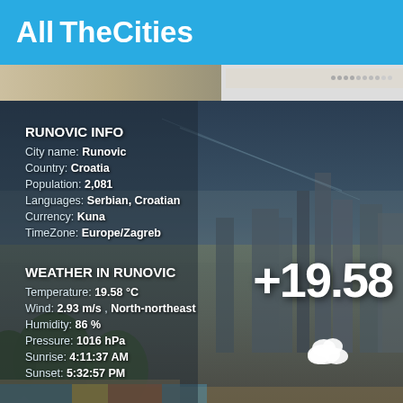AllTheCities
[Figure (photo): City skyline background photo with buildings and sky, semi-transparent overlay]
RUNOVIC INFO
City name: Runovic
Country: Croatia
Population: 2,081
Languages: Serbian, Croatian
Currency: Kuna
TimeZone: Europe/Zagreb
WEATHER IN RUNOVIC
Temperature: 19.58 °C
Wind: 2.93 m/s , North-northeast
Humidity: 86 %
Pressure: 1016 hPa
Sunrise: 4:11:37 AM
Sunset: 5:32:57 PM